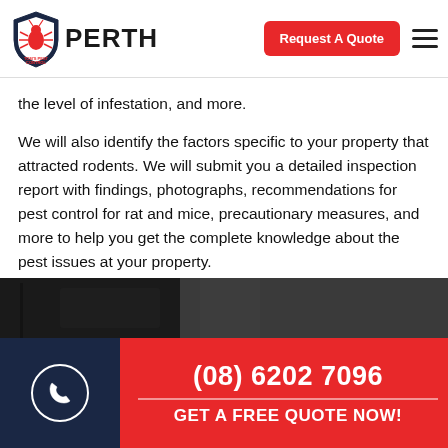[Figure (logo): Tom's Pest Control Perth logo with shield containing a pest insect icon, red and dark blue branding]
Request A Quote
the level of infestation, and more.
We will also identify the factors specific to your property that attracted rodents. We will submit you a detailed inspection report with findings, photographs, recommendations for pest control for rat and mice, precautionary measures, and more to help you get the complete knowledge about the pest issues at your property.
[Figure (photo): Partial dark photo at the bottom of the page, showing a shadowy scene]
(08) 6202 7096
GET A FREE QUOTE NOW!